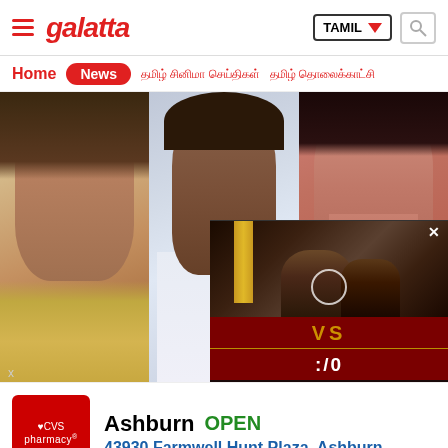Galatta | TAMIL | Home | News
[Figure (screenshot): Galatta website screenshot showing three celebrity faces (two women and one man) in a news section, with a video overlay popup showing 'VS' and ':10' score UI, and a CVS pharmacy ad banner at the bottom with text 'Ashburn OPEN 43930 Farmwell Hunt Plaza, Ashburn']